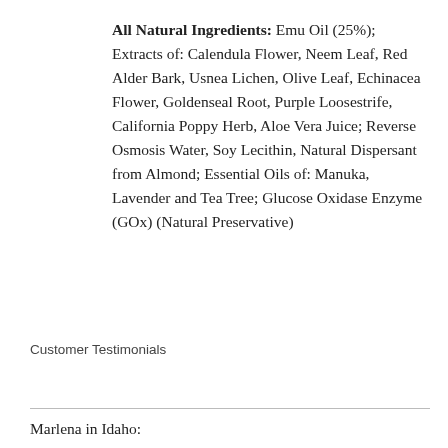All Natural Ingredients: Emu Oil (25%); Extracts of: Calendula Flower, Neem Leaf, Red Alder Bark, Usnea Lichen, Olive Leaf, Echinacea Flower, Goldenseal Root, Purple Loosestrife, California Poppy Herb, Aloe Vera Juice; Reverse Osmosis Water, Soy Lecithin, Natural Dispersant from Almond; Essential Oils of: Manuka, Lavender and Tea Tree; Glucose Oxidase Enzyme (GOx) (Natural Preservative)
Customer Testimonials
Marlena in Idaho: